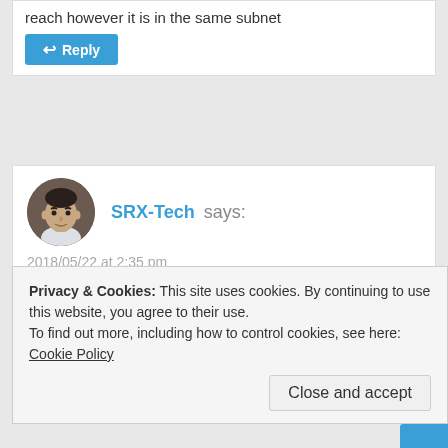reach however it is in the same subnet
Reply
SRX-Tech says:
2018/05/22 at 2:35 pm
After my experience with SRX300 series , fab interface will not go up until you also delete all interfaces:
# delete interfaces
Reply
Privacy & Cookies: This site uses cookies. By continuing to use this website, you agree to their use.
To find out more, including how to control cookies, see here: Cookie Policy
Close and accept